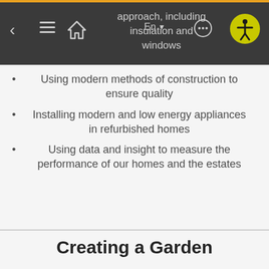approach, including insulation and windows
Using modern methods of construction to ensure quality
Installing modern and low energy appliances in refurbished homes
Using data and insight to measure the performance of our homes and the estates
Creating a Garden